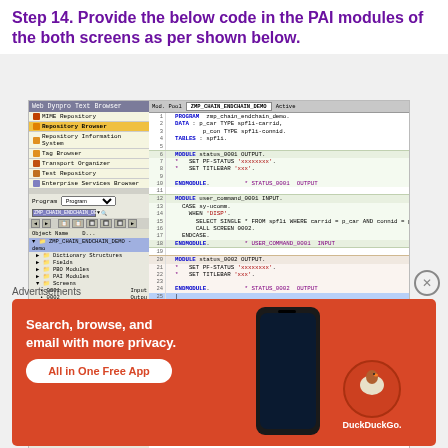Step 14. Provide the below code in the PAI modules of the both screens as per shown below.
[Figure (screenshot): SAP Web Dynpro development environment showing code editor with ABAP PAI module code for ZMP_CHAIN_ENDCHAIN_DEMO program. Left panel shows repository browser tree with Dictionary Structures, Fields, PBO Modules, PAI Modules, Screens, 0001 (INPUT), 0002 (OUTPUT), Transactions. Right panel shows ABAP code with MODULE status_0001 OUTPUT, MODULE user_command_0001 INPUT, MODULE status_0002 OUTPUT, MODULE user_command_0002 INPUT.]
Advertisements
[Figure (infographic): DuckDuckGo advertisement banner in orange/red color with text 'Search, browse, and email with more privacy. All in One Free App' with phone graphic and DuckDuckGo logo.]